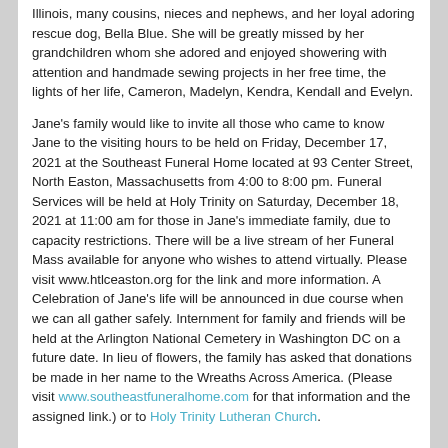Illinois, many cousins, nieces and nephews, and her loyal adoring rescue dog, Bella Blue. She will be greatly missed by her grandchildren whom she adored and enjoyed showering with attention and handmade sewing projects in her free time, the lights of her life, Cameron, Madelyn, Kendra, Kendall and Evelyn.
Jane's family would like to invite all those who came to know Jane to the visiting hours to be held on Friday, December 17, 2021 at the Southeast Funeral Home located at 93 Center Street, North Easton, Massachusetts from 4:00 to 8:00 pm. Funeral Services will be held at Holy Trinity on Saturday, December 18, 2021 at 11:00 am for those in Jane's immediate family, due to capacity restrictions. There will be a live stream of her Funeral Mass available for anyone who wishes to attend virtually. Please visit www.htlceaston.org for the link and more information. A Celebration of Jane's life will be announced in due course when we can all gather safely. Internment for family and friends will be held at the Arlington National Cemetery in Washington DC on a future date. In lieu of flowers, the family has asked that donations be made in her name to the Wreaths Across America. (Please visit www.southeastfuneralhome.com for that information and the assigned link.) or to Holy Trinity Lutheran Church.